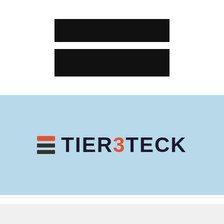[Figure (other): Two black redacted rectangular bars stacked vertically on white background]
[Figure (logo): Tier3Teck logo on light blue background. Features a hamburger icon (orange top bar, two dark bars below) followed by the text TIER3TECK with the 3 in orange/red color.]
by Jacob Watson
1